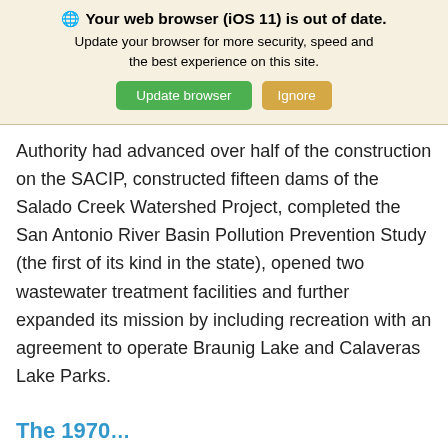[Figure (screenshot): Browser update banner with globe icon, bold title 'Your web browser (iOS 11) is out of date.', subtitle text, and two buttons: green 'Update browser' and tan 'Ignore'.]
Authority had advanced over half of the construction on the SACIP, constructed fifteen dams of the Salado Creek Watershed Project, completed the San Antonio River Basin Pollution Prevention Study (the first of its kind in the state), opened two wastewater treatment facilities and further expanded its mission by including recreation with an agreement to operate Braunig Lake and Calaveras Lake Parks.
The 1970...